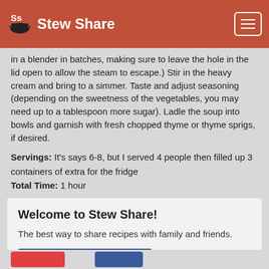Stew Share
in a blender in batches, making sure to leave the hole in the lid open to allow the steam to escape.) Stir in the heavy cream and bring to a simmer. Taste and adjust seasoning (depending on the sweetness of the vegetables, you may need up to a tablespoon more sugar). Ladle the soup into bowls and garnish with fresh chopped thyme or thyme sprigs, if desired.
Servings: It's says 6-8, but I served 4 people then filled up 3 containers of extra for the fridge
Total Time: 1 hour
Welcome to Stew Share!
The best way to share recipes with family and friends.
Sign up with Facebook